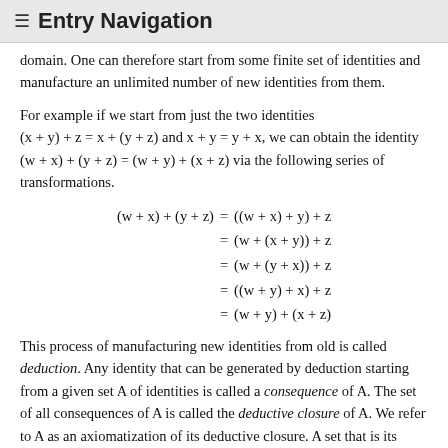≡ Entry Navigation
domain. One can therefore start from some finite set of identities and manufacture an unlimited number of new identities from them.
For example if we start from just the two identities (x + y) + z = x + (y + z) and x + y = y + x, we can obtain the identity (w + x) + (y + z) = (w + y) + (x + z) via the following series of transformations.
This process of manufacturing new identities from old is called deduction. Any identity that can be generated by deduction starting from a given set A of identities is called a consequence of A. The set of all consequences of A is called the deductive closure of A. We refer to A as an axiomatization of its deductive closure. A set that is its...